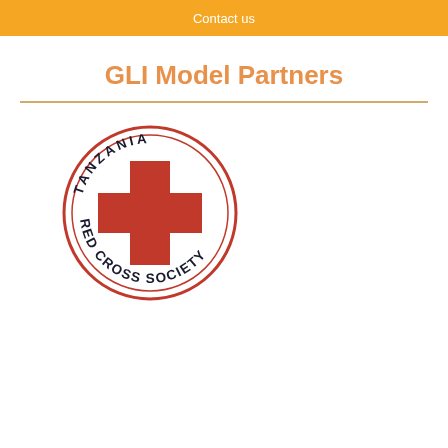Contact us
GLI Model Partners
[Figure (logo): Tanzania Red Cross Society circular logo with red cross in center and text 'TANZANIA RED CROSS SOCIETY' around the border]